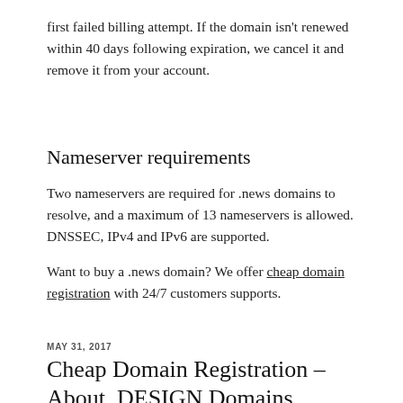first failed billing attempt. If the domain isn't renewed within 40 days following expiration, we cancel it and remove it from your account.
Nameserver requirements
Two nameservers are required for .news domains to resolve, and a maximum of 13 nameservers is allowed. DNSSEC, IPv4 and IPv6 are supported.
Want to buy a .news domain? We offer cheap domain registration with 24/7 customers supports.
MAY 31, 2017
Cheap Domain Registration – About .DESIGN Domains